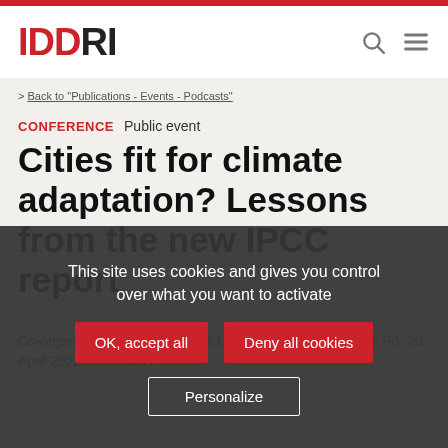IDDRI
> Back to "Publications - Events - Podcasts"
CONFERENCE  Public event
Cities fit for climate adaptation? Lessons from the new IPCC report
Co-organized by IDDRI and the Urban School of Sciences Po, 20 April 2022, Sciences Po
This site uses cookies and gives you control over what you want to activate
OK, accept all  Deny all cookies  Personalize